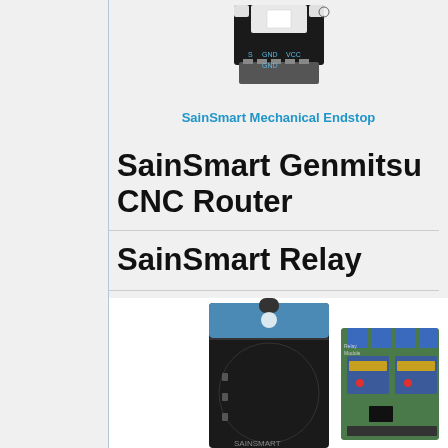[Figure (photo): SainSmart Mechanical Endstop module showing connector pinout labels: S, GND, GND, VCC]
SainSmart Mechanical Endstop
SainSmart Genmitsu CNC Router
SainSmart Relay
[Figure (photo): SainSmart Relay product photo showing retail box packaging and the 2-channel relay module board]